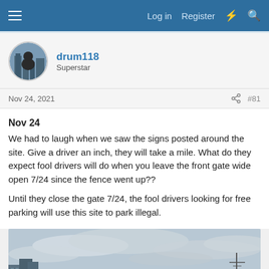Log in  Register
drum118
Superstar
Nov 24, 2021  #81
Nov 24
We had to laugh when we saw the signs posted around the site. Give a driver an inch, they will take a mile. What do they expect fool drivers will do when you leave the front gate wide open 7/24 since the fence went up??

Until they close the gate 7/24, the fool drivers looking for free parking will use this site to park illegal.
[Figure (photo): Outdoor photo showing city buildings and a cloudy sky, taken at a construction or parking site.]